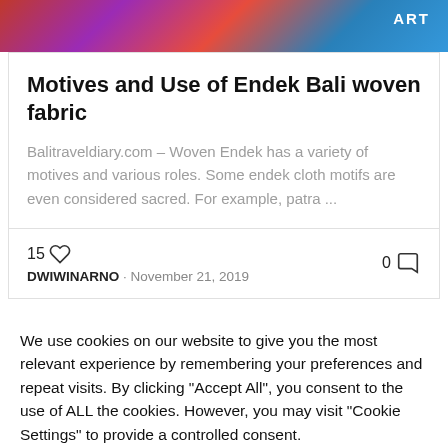[Figure (photo): Colorful woven fabric banner image with ART badge in top right corner]
Motives and Use of Endek Bali woven fabric
Balitraveldiary.com – Woven Endek has a variety of motives and various roles. Some endek cloth motifs are even considered sacred. For example, patra ...
15 ♡
DWIWINARNO · November 21, 2019
0 💬
We use cookies on our website to give you the most relevant experience by remembering your preferences and repeat visits. By clicking "Accept All", you consent to the use of ALL the cookies. However, you may visit "Cookie Settings" to provide a controlled consent.
Cookie Settings
Accept All